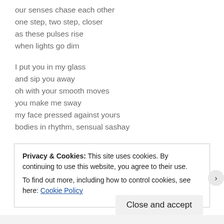our senses chase each other
one step, two step, closer
as these pulses rise
when lights go dim
I put you in my glass
and sip you away
oh with your smooth moves
you make me sway
my face pressed against yours
bodies in rhythm, sensual sashay
intoxicated spirits
silhouettes entwine
Privacy & Cookies: This site uses cookies. By continuing to use this website, you agree to their use.
To find out more, including how to control cookies, see here: Cookie Policy
Close and accept